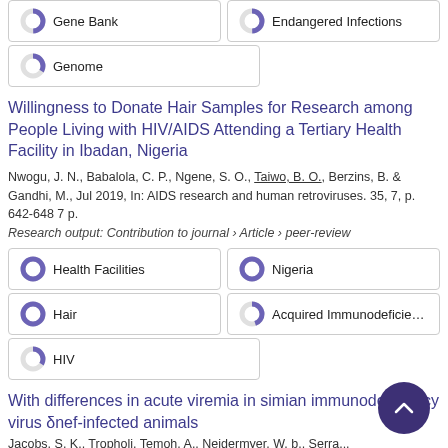Gene Bank
Endangered Infections
Genome
Willingness to Donate Hair Samples for Research among People Living with HIV/AIDS Attending a Tertiary Health Facility in Ibadan, Nigeria
Nwogu, J. N., Babalola, C. P., Ngene, S. O., Taiwo, B. O., Berzins, B. & Gandhi, M., Jul 2019, In: AIDS research and human retroviruses. 35, 7, p. 642-648 7 p.
Research output: Contribution to journal › Article › peer-review
Health Facilities
Nigeria
Hair
Acquired Immunodeficiency Sy
HIV
With differences in acute viremia in simian immunodeficiency virus δnef-infected animals
Jacobs, S. K., Tropholi, Temoh, A., Neidermyer, W. b., Serra...